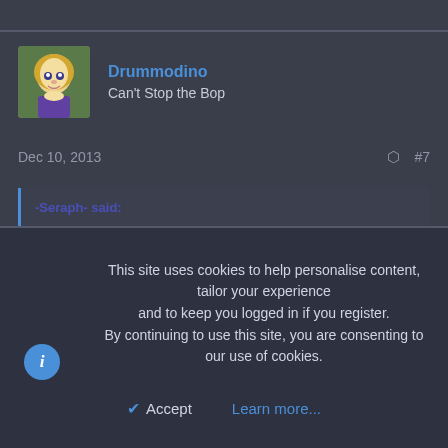Drummodino
Can't Stop the Bop
Dec 10, 2013   #7
-Seraph- said:
Drummodino said:
-Seraph- said:
This site uses cookies to help personalise content, tailor your experience and to keep you logged in if you register.
By continuing to use this site, you are consenting to our use of cookies.
Accept
Learn more...